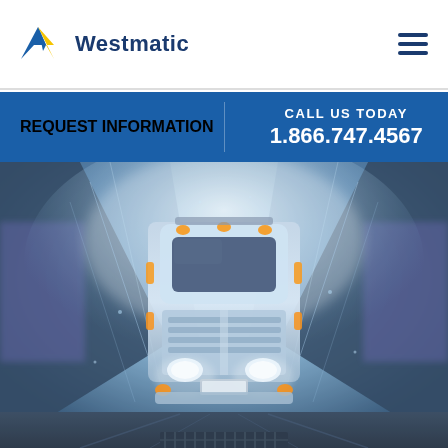[Figure (logo): Westmatic logo with blue and yellow W icon and blue Westmatic text]
REQUEST INFORMATION
CALL US TODAY
1.866.747.4567
[Figure (photo): Front view of a large truck (semi/bus) being washed in a vehicle wash tunnel with water spray and mist surrounding it, dramatic blue and white lighting]